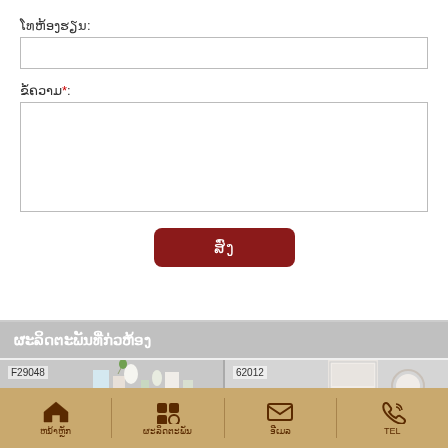ໂທຫ້ອງຮຽນ:
[Figure (screenshot): Empty text input field for phone/classroom]
ຂໍ້ຄວາມ*:
[Figure (screenshot): Empty textarea for message input]
[Figure (screenshot): Dark red submit button with Lao text ສົ່ງ]
ຜະລິດຕະພັນທີ່ກ່ວຫ້ອງ
[Figure (photo): Product image F29048 - shelf with vases]
[Figure (photo): Product image 62012 - door with round mirror]
ຫນ້າຫຼັກ   ຜະລິດຕະພັນ   ອີເມລ   TEL